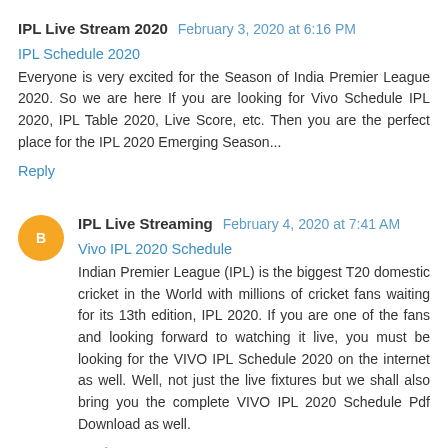IPL Live Stream 2020  February 3, 2020 at 6:16 PM
IPL Schedule 2020
Everyone is very excited for the Season of India Premier League 2020. So we are here If you are looking for Vivo Schedule IPL 2020, IPL Table 2020, Live Score, etc. Then you are the perfect place for the IPL 2020 Emerging Season...
Reply
IPL Live Streaming  February 4, 2020 at 7:41 AM
Vivo IPL 2020 Schedule
Indian Premier League (IPL) is the biggest T20 domestic cricket in the World with millions of cricket fans waiting for its 13th edition, IPL 2020. If you are one of the fans and looking forward to watching it live, you must be looking for the VIVO IPL Schedule 2020 on the internet as well. Well, not just the live fixtures but we shall also bring you the complete VIVO IPL 2020 Schedule Pdf Download as well.
Reply